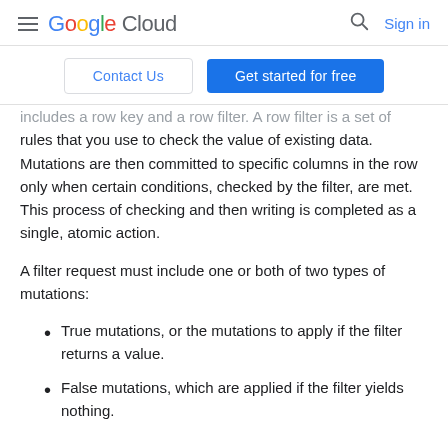Google Cloud  Sign in
Contact Us  Get started for free
includes a row key and a row filter. A row filter is a set of rules that you use to check the value of existing data. Mutations are then committed to specific columns in the row only when certain conditions, checked by the filter, are met. This process of checking and then writing is completed as a single, atomic action.
A filter request must include one or both of two types of mutations:
True mutations, or the mutations to apply if the filter returns a value.
False mutations, which are applied if the filter yields nothing.